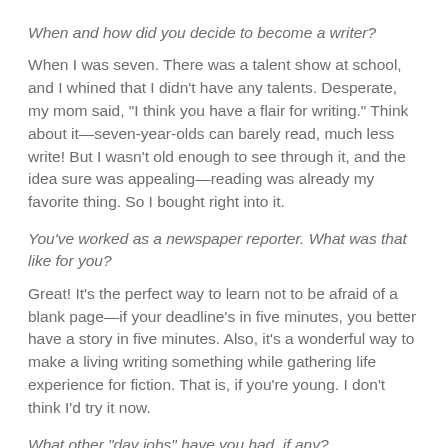When and how did you decide to become a writer?
When I was seven. There was a talent show at school, and I whined that I didn't have any talents. Desperate, my mom said, “I think you have a flair for writing.” Think about it—seven-year-olds can barely read, much less write! But I wasn’t old enough to see through it, and the idea sure was appealing—reading was already my favorite thing. So I bought right into it.
You’ve worked as a newspaper reporter. What was that like for you?
Great! It’s the perfect way to learn not to be afraid of a blank page—if your deadline’s in five minutes, you better have a story in five minutes. Also, it’s a wonderful way to make a living writing something while gathering life experience for fiction. That is, if you’re young. I don’t think I’d try it now.
What other “day jobs” have you had, if any?